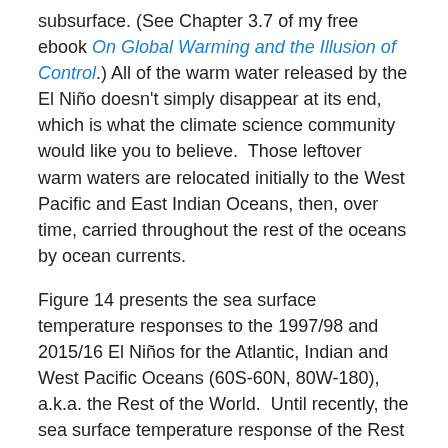subsurface. (See Chapter 3.7 of my free ebook On Global Warming and the Illusion of Control.) All of the warm water released by the El Niño doesn't simply disappear at its end, which is what the climate science community would like you to believe.  Those leftover warm waters are relocated initially to the West Pacific and East Indian Oceans, then, over time, carried throughout the rest of the oceans by ocean currents.
Figure 14 presents the sea surface temperature responses to the 1997/98 and 2015/16 El Niños for the Atlantic, Indian and West Pacific Oceans (60S-60N, 80W-180), a.k.a. the Rest of the World.  Until recently, the sea surface temperature response of the Rest of the World to the 2015/16 El Niño basically tracked that of the 1997/98 El Niño…may have responded a little earlier in the first few months.  The surface temperatures there then dropped